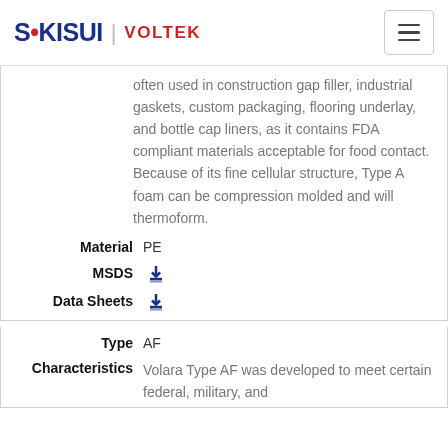SEKISUI | VOLTEK
often used in construction gap filler, industrial gaskets, custom packaging, flooring underlay, and bottle cap liners, as it contains FDA compliant materials acceptable for food contact. Because of its fine cellular structure, Type A foam can be compression molded and will thermoform.
Material  PE
MSDS  [download]
Data Sheets  [download]
Type  AF
Characteristics  Volara Type AF was developed to meet certain federal, military, and